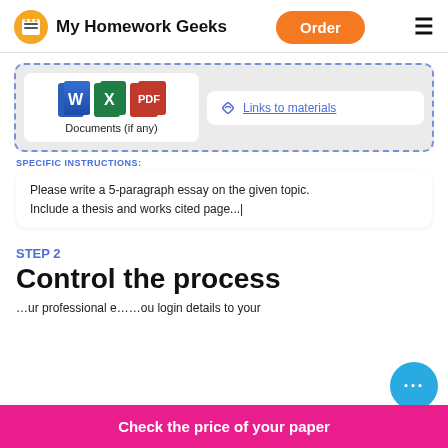My Homework Geeks | Order | Menu
[Figure (screenshot): Upload area with dashed blue border showing Word, Excel, PDF icons and 'Documents (if any)' label, plus a 'Links to materials' button]
SPECIFIC INSTRUCTIONS:
Please write a 5-paragraph essay on the given topic. Include a thesis and works cited page...|
STEP 2
Control the process
...ur professional e... ou login details to your
Check the price of your paper